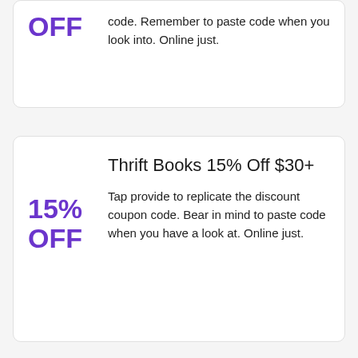OFF
code. Remember to paste code when you look into. Online just.
Thrift Books 15% Off $30+
15% OFF
Tap provide to replicate the discount coupon code. Bear in mind to paste code when you have a look at. Online just.